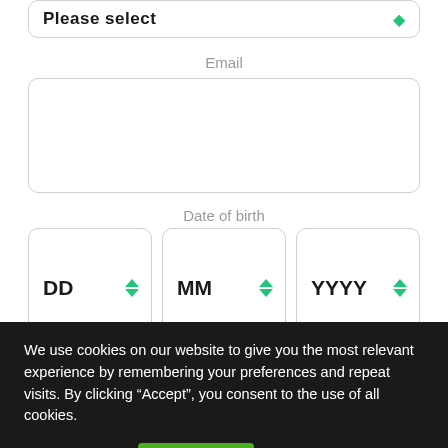[Figure (screenshot): Partially visible dropdown field at top with bold placeholder text and green arrow icon]
Email
[Figure (screenshot): Email input text field - empty, rounded rectangle]
Date of birth
[Figure (screenshot): Three date picker dropdowns: DD, MM, YYYY with green up/down arrows]
Marital status
We use cookies on our website to give you the most relevant experience by remembering your preferences and repeat visits. By clicking “Accept”, you consent to the use of all cookies.
Cookie settings
ACCEPT